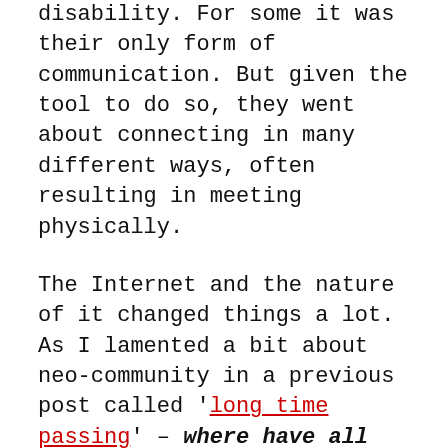disability. For some it was their only form of communication. But given the tool to do so, they went about connecting in many different ways, often resulting in meeting physically.
The Internet and the nature of it changed things a lot. As I lamented a bit about neo-community in a previous post called 'long time passing' – where have all the people gone?
Doing community that connects people physically is a lot different than the BBS days. Most particularly due to the Internet's geographic reach. And to a degree it's changed the form of my work's online presence. But the drive for people to connect is still there. The technology